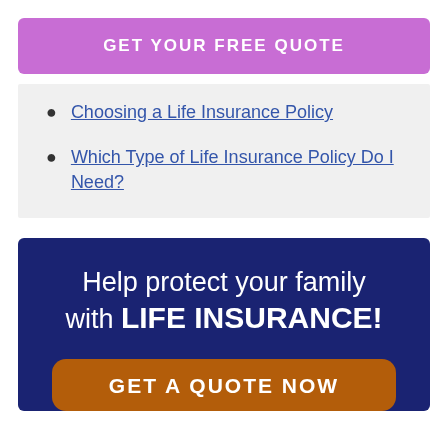GET YOUR FREE QUOTE
Choosing a Life Insurance Policy
Which Type of Life Insurance Policy Do I Need?
Help protect your family with LIFE INSURANCE!
GET A QUOTE NOW